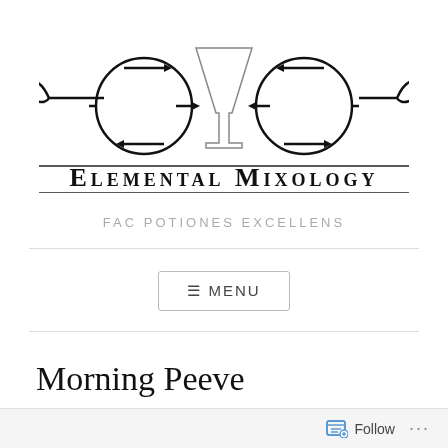[Figure (logo): Elemental Mixology logo: a cocktail/martini glass in the center flanked by circular arrow icons and decorative horizontal lines with scroll ends]
Elemental Mixology
FAC POTIONES EXCELLENS
≡ MENU
Morning Peeve
JANUARY 22, 2014  ~  ANDREW WILLETT
Follow ...